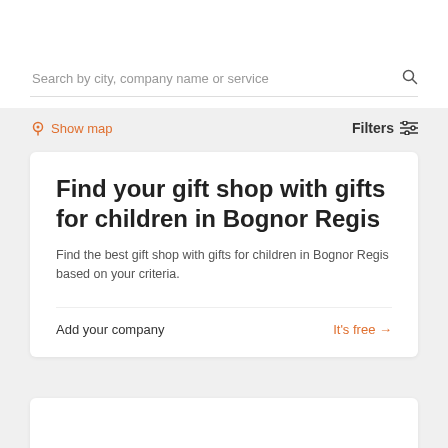Search by city, company name or service
Show map
Filters
Find your gift shop with gifts for children in Bognor Regis
Find the best gift shop with gifts for children in Bognor Regis based on your criteria.
Add your company
It's free →